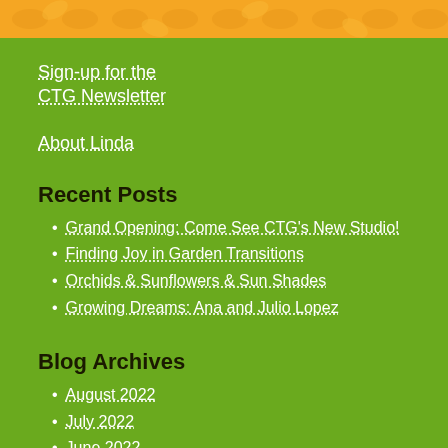[Figure (illustration): Orange decorative header texture with leaf/floral pattern]
Sign-up for the CTG Newsletter
About Linda
Recent Posts
Grand Opening: Come See CTG's New Studio!
Finding Joy in Garden Transitions
Orchids & Sunflowers & Sun Shades
Growing Dreams: Ana and Julio Lopez
Blog Archives
August 2022
July 2022
June 2022
May 2022
April 2022